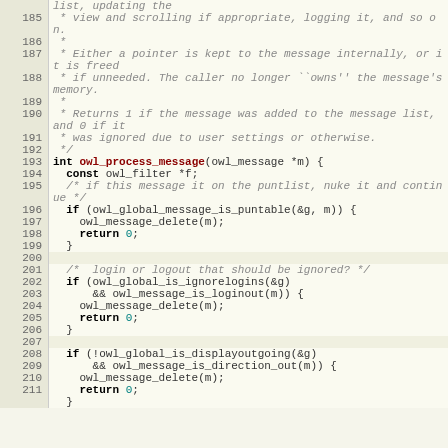[Figure (screenshot): Source code listing in C showing the owl_process_message function, lines 185-211, with line numbers in a tan/beige gutter column and code in a light background. Includes comment blocks and C code with keywords, function names, and numeric literals highlighted.]